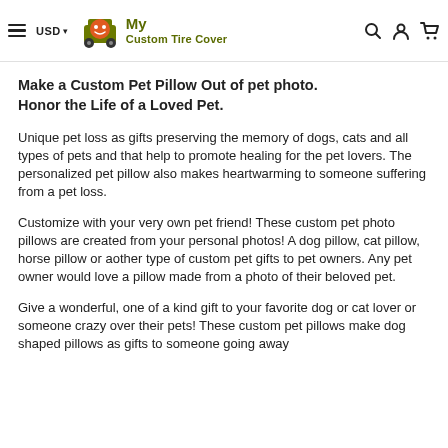≡  USD ▾  My Custom Tire Cover  🔍  👤  🛒
Make a Custom Pet Pillow Out of pet photo. Honor the Life of a Loved Pet.
Unique pet loss as gifts preserving the memory of dogs, cats and all types of pets and that help to promote healing for the pet lovers. The personalized pet pillow also makes heartwarming to someone suffering from a pet loss.
Customize with your very own pet friend! These custom pet photo pillows are created from your personal photos! A dog pillow, cat pillow, horse pillow or aother type of custom pet gifts to pet owners. Any pet owner would love a pillow made from a photo of their beloved pet.
Give a wonderful, one of a kind gift to your favorite dog or cat lover or someone crazy over their pets! These custom pet pillows make dog shaped pillows as gifts to someone going away